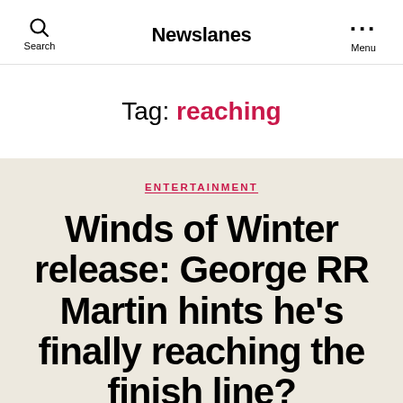Newslanes
Tag: reaching
ENTERTAINMENT
Winds of Winter release: George RR Martin hints he's finally reaching the finish line?